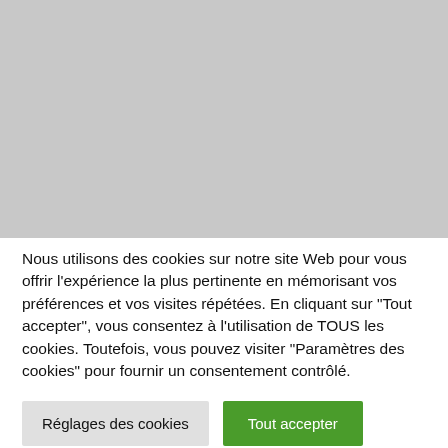[Figure (photo): Gray placeholder image area occupying the top portion of the page]
Nous utilisons des cookies sur notre site Web pour vous offrir l'expérience la plus pertinente en mémorisant vos préférences et vos visites répétées. En cliquant sur "Tout accepter", vous consentez à l'utilisation de TOUS les cookies. Toutefois, vous pouvez visiter "Paramètres des cookies" pour fournir un consentement contrôlé.
Réglages des cookies
Tout accepter